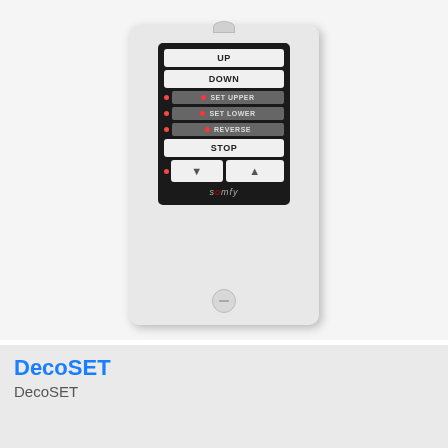[Figure (photo): A Somfy DecoSET wall-mounted controller panel in white, featuring buttons labeled UP, DOWN, SET UPPER, SET LOWER, REVERSE, STOP, and two arrow buttons (down and up triangles), with the Somfy brand name at the bottom of the controller unit.]
DecoSET
DecoSET